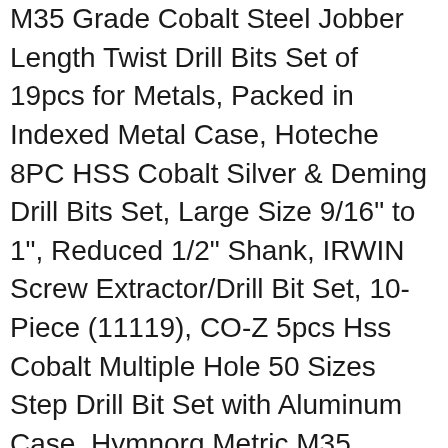M35 Grade Cobalt Steel Jobber Length Twist Drill Bits Set of 19pcs for Metals, Packed in Indexed Metal Case, Hoteche 8PC HSS Cobalt Silver & Deming Drill Bits Set, Large Size 9/16" to 1", Reduced 1/2" Shank, IRWIN Screw Extractor/Drill Bit Set, 10-Piece (11119), CO-Z 5pcs Hss Cobalt Multiple Hole 50 Sizes Step Drill Bit Set with Aluminum Case, Hymnorq Metric M35 Cobalt Steel Extremely Heat Resistant Twist Drill Bits with Straight Shank Set of 50pcs in 5 Sizes(1, 1.5, 2, 2.5, 3mm) for Stainless Steel Cast Iron and Hard Metals, Neiko 10193A Titanium Step Drill Bit Set, High Speed Steel | 3-Piece Set | Total 28 Sizes, TopLine USA M42 Cobalt #31 Drill Bits 6-Pk, Bosch CO4029 29-Piece Metal Index Cobalt Drill Bit Set, Bosch 21 Piece Cobalt Metal Drill Bit Set CO21, Best Choice 8-Piece 1/2" Shank Silver and Deming Drill Bit Set in Aluminum Carry Case, High Speed Steel (HSS) | SAE Size 9/16" - 1" by 1/16th Increment, DartDrill USA Premium M42 Cobalt Drill Bit Set | HSS Industrial Grade Drill Bits, 29 Pieces| Twist Design, The thick web-helix design delivers fast material removal and increased stability.